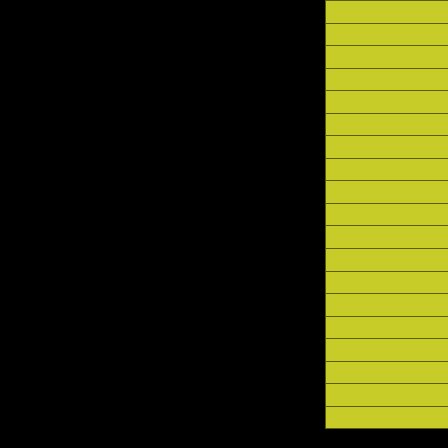| Date |  | Artist |
| --- | --- | --- |
| Tue 10/1/19 |  | Loli Satellites |
| Tue 10/1/19 |  | Meant To Bend |
| Tue 10/1/19 |  | No Fiction |
| Wed 10/2/19 |  | Night Club |
| Wed 10/2/19 |  | Death Valley High |
| Wed 10/2/19 |  | Vice Reine |
| Thu 10/3/19 |  | Movits! |
| Thu 10/3/19 |  | Top Secret Robot A... |
| Thu 10/3/19 |  | Chow Mane |
| Fri 10/4/19 |  | Cherubs |
| Fri 10/4/19 |  | Low Dose |
| Fri 10/4/19 |  | Shutups |
| Sat 10/5/19 |  | Starcrawler |
| Sat 10/5/19 |  | Kill Birds |
| Sat 10/5/19 |  | Sour Widows |
| Sun 10/6/19 |  | High Tone Son Of A... |
| Sun 10/6/19 |  | Keverra |
| Sun 10/6/19 |  | Connoisseur |
| Sun 10/6/19 |  | Shadow Limb |